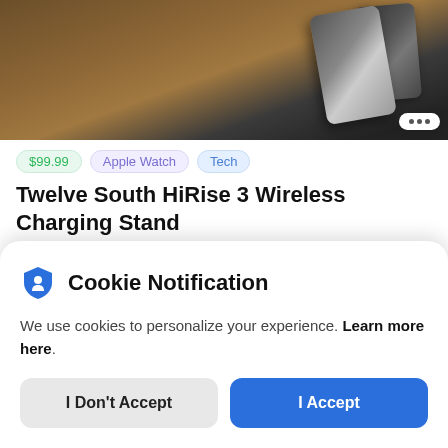[Figure (photo): Product photo of wireless charging stand with smartphone on wooden surface, with three-dot menu button in bottom right corner]
$99.99  Apple Watch  Tech
Twelve South HiRise 3 Wireless Charging Stand
2 months ago by Amy
[Figure (photo): Partial view of a second product image with colorful neon lighting]
Cookie Notification
We use cookies to personalize your experience. Learn more here.
I Don't Accept
I Accept